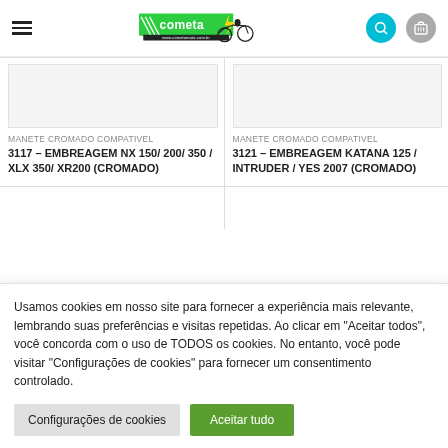Cometa Moto - www.cometamoto.com.br
MANETE CROMADO COMPATIVEL 3117 – EMBREAGEM NX 150/ 200/ 350 / XLX 350/ XR200 (CROMADO)
MANETE CROMADO COMPATIVEL 3121 – EMBREAGEM KATANA 125 / INTRUDER / YES 2007 (CROMADO)
Usamos cookies em nosso site para fornecer a experiência mais relevante, lembrando suas preferências e visitas repetidas. Ao clicar em "Aceitar todos", você concorda com o uso de TODOS os cookies. No entanto, você pode visitar "Configurações de cookies" para fornecer um consentimento controlado.
Configurações de cookies
Aceitar tudo